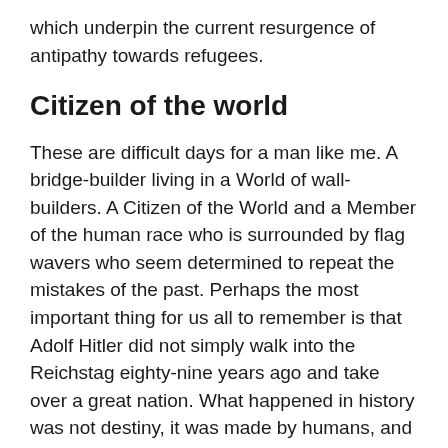which underpin the current resurgence of antipathy towards refugees.
Citizen of the world
These are difficult days for a man like me. A bridge-builder living in a World of wall-builders. A Citizen of the World and a Member of the human race who is surrounded by flag wavers who seem determined to repeat the mistakes of the past. Perhaps the most important thing for us all to remember is that Adolf Hitler did not simply walk into the Reichstag eighty-nine years ago and take over a great nation. What happened in history was not destiny, it was made by humans, and it could have been prevented by humans.
So as we consider the rise to power of perhaps the most evil man in history, we must be more vigilant than ever